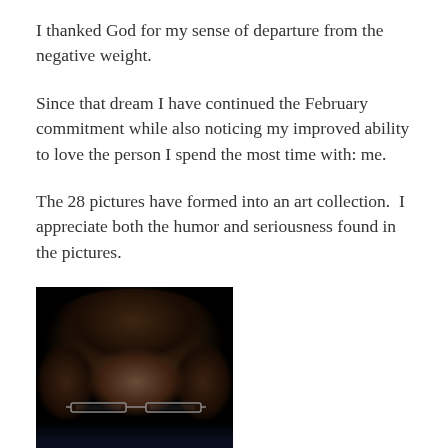I thanked God for my sense of departure from the negative weight.
Since that dream I have continued the February commitment while also noticing my improved ability to love the person I spend the most time with: me.
The 28 pictures have formed into an art collection.  I appreciate both the humor and seriousness found in the pictures.
[Figure (photo): A photograph of a person with dark curly/messy hair covering most of their face, wearing thin-framed glasses, against a very dark/black background. Only parts of the face and glasses are visible through the hair.]